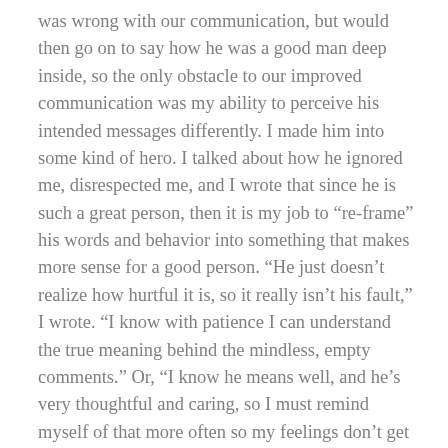was wrong with our communication, but would then go on to say how he was a good man deep inside, so the only obstacle to our improved communication was my ability to perceive his intended messages differently. I made him into some kind of hero. I talked about how he ignored me, disrespected me, and I wrote that since he is such a great person, then it is my job to “re-frame” his words and behavior into something that makes more sense for a good person. “He just doesn’t realize how hurtful it is, so it really isn’t his fault,” I wrote. “I know with patience I can understand the true meaning behind the mindless, empty comments.” Or, “I know he means well, and he’s very thoughtful and caring, so I must remind myself of that more often so my feelings don’t get hurt.”